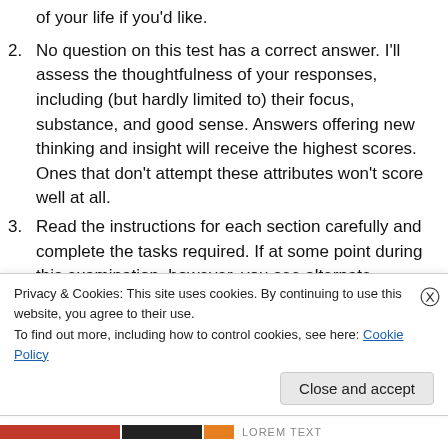of your life if you'd like.
2. No question on this test has a correct answer. I'll assess the thoughtfulness of your responses, including (but hardly limited to) their focus, substance, and good sense. Answers offering new thinking and insight will receive the highest scores. Ones that don't attempt these attributes won't score well at all.
3. Read the instructions for each section carefully and complete the tasks required. If at some point during this examination, however, you see alternate approaches or alternate requirements that are just as
Privacy & Cookies: This site uses cookies. By continuing to use this website, you agree to their use.
To find out more, including how to control cookies, see here: Cookie Policy
Close and accept